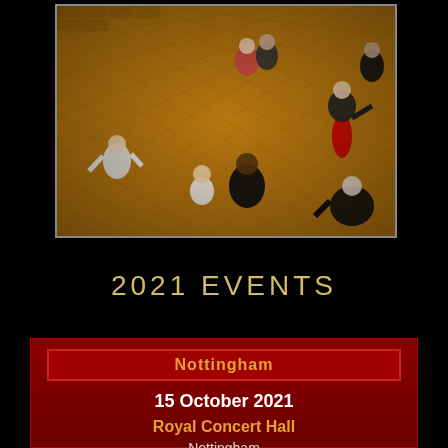[Figure (photo): Aerial view of people dancing on a parquet wooden floor at a dance event]
2021 EVENTS
Nottingham
15 October 2021
Royal Concert Hall
Nottingham
NG1 5ND